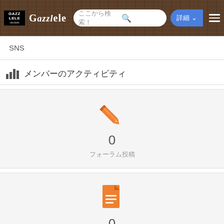GAZZLELE ここから検索！ 詳細
SNS
メンバーのアクティビティ
[Figure (infographic): Orange pencil icon above count 0 and label フォーラム投稿]
0
フォーラム投稿
[Figure (infographic): Orange document icon above count 0 and label トピック]
0
トピック